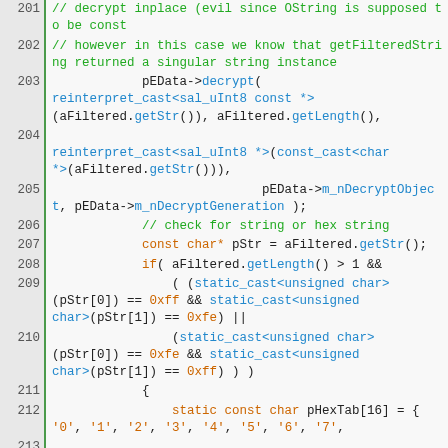[Figure (screenshot): Source code listing in C++ with line numbers 201-217, showing decryption and string processing logic with syntax highlighting (green comments, orange keywords/strings, blue function names).]